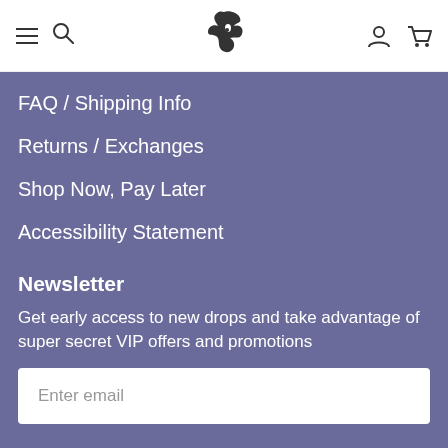Navigation header with hamburger menu, search icon, bird logo, user icon, and cart icon
FAQ / Shipping Info
Returns / Exchanges
Shop Now, Pay Later
Accessibility Statement
Newsletter
Get early access to new drops and take advantage of super secret VIP offers and promotions
Enter email